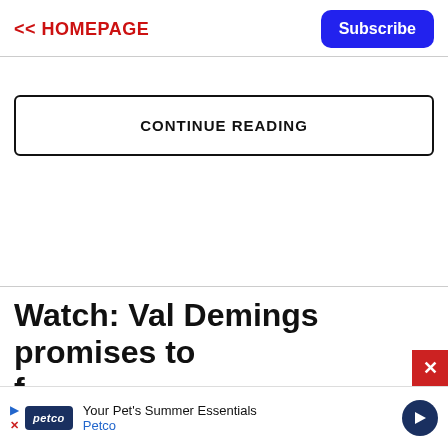<< HOMEPAGE  Subscribe
CONTINUE READING
Watch: Val Demings promises to f...
[Figure (other): Petco advertisement banner: 'Your Pet's Summer Essentials Petco']